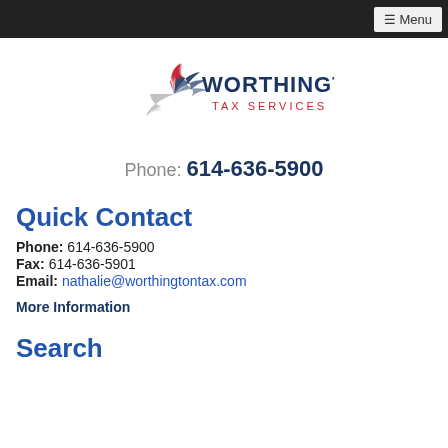≡ Menu
[Figure (logo): Worthington Tax Services logo with stylized pinwheel graphic in red, gray, and navy, and text WORTHINGTON TAX SERVICES in navy and red]
Phone: 614-636-5900
Quick Contact
Phone: 614-636-5900
Fax: 614-636-5901
Email: nathalie@worthingtontax.com
More Information
Search